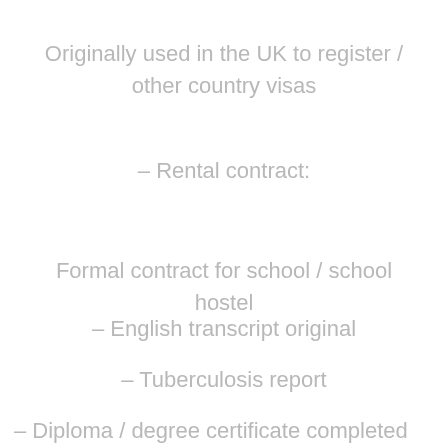Originally used in the UK to register / other country visas
– Rental contract:
Formal contract for school / school hostel
– English transcript original
– Tuberculosis report
– Diploma / degree certificate completed before going abroad